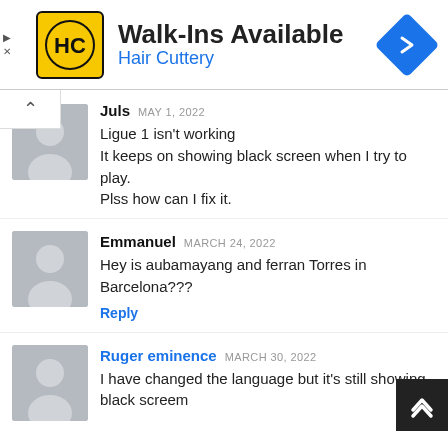[Figure (infographic): Hair Cuttery advertisement banner with logo, 'Walk-Ins Available' text, and navigation icon]
Juls MAY 1, 2022
Ligue 1 isn't working
It keeps on showing black screen when I try to play.
Plss how can I fix it.
Emmanuel MARCH 24, 2022
Hey is aubamayang and ferran Torres in Barcelona???
Reply
Ruger eminence MARCH 30, 2022
I have changed the language but it's still showing black screem